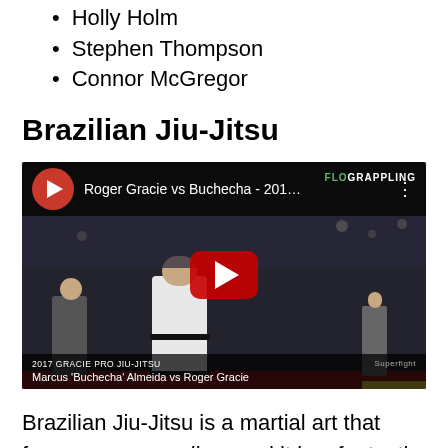Holly Holm
Stephen Thompson
Connor McGregor
Brazilian Jiu-Jitsu
[Figure (screenshot): YouTube video thumbnail showing 'Roger Gracie vs Buchecha - 201...' with a BJJ match in an arena, play button overlay, and bottom bar showing 'Marcus Buchecha Almaida vs Roger Gracie']
Brazilian Jiu-Jitsu is a martial art that focuses on grappling, and it is a fantastic starting